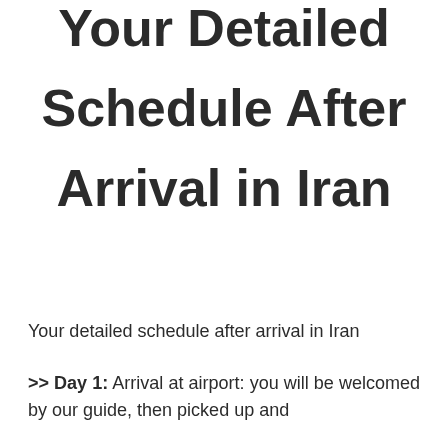Your Detailed Schedule After Arrival in Iran
Your detailed schedule after arrival in Iran
>> Day 1: Arrival at airport: you will be welcomed by our guide, then picked up and